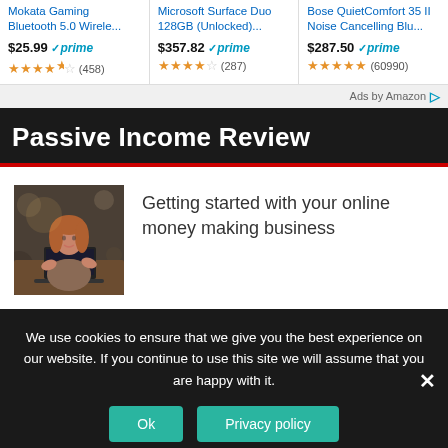[Figure (screenshot): Amazon ad strip showing three products: Mokata Gaming Bluetooth 5.0 Wirele... at $25.99 with 4.5 stars (458 reviews), Microsoft Surface Duo 128GB (Unlocked)... at $357.82 with 4 stars (287 reviews), Bose QuietComfort 35 II Noise Cancelling Blu... at $287.50 with 5 stars (60990 reviews)]
Ads by Amazon
Passive Income Review
[Figure (photo): Woman sitting at a cafe table working on a laptop, warm lighting, bokeh background]
Getting started with your online money making business
We use cookies to ensure that we give you the best experience on our website. If you continue to use this site we will assume that you are happy with it.